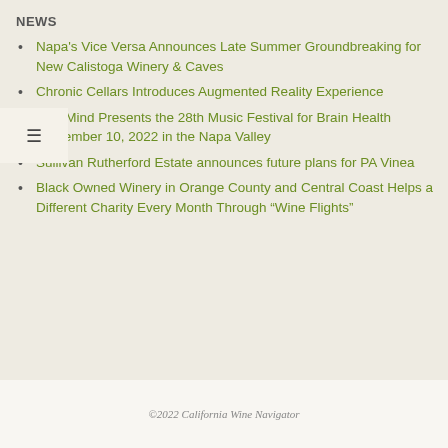NEWS
Napa's Vice Versa Announces Late Summer Groundbreaking for New Calistoga Winery & Caves
Chronic Cellars Introduces Augmented Reality Experience
One Mind Presents the 28th Music Festival for Brain Health September 10, 2022 in the Napa Valley
Sullivan Rutherford Estate announces future plans for PA Vinea
Black Owned Winery in Orange County and Central Coast Helps a Different Charity Every Month Through “Wine Flights”
©2022 California Wine Navigator